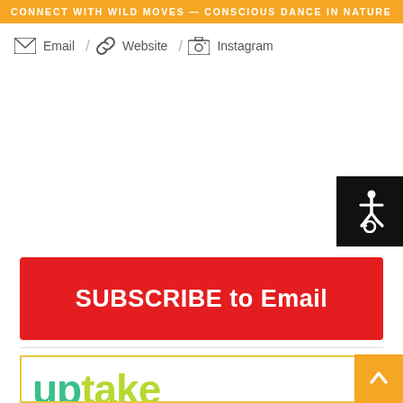CONNECT WITH WILD MOVES — CONSCIOUS DANCE IN NATURE
Email / Website / Instagram
[Figure (infographic): Accessibility icon — white wheelchair symbol on black background]
[Figure (infographic): Red button with white bold text: SUBSCRIBE to Email]
[Figure (logo): Uptake logo with 'up' in green and 'take' in yellow-green, inside a yellow-bordered box]